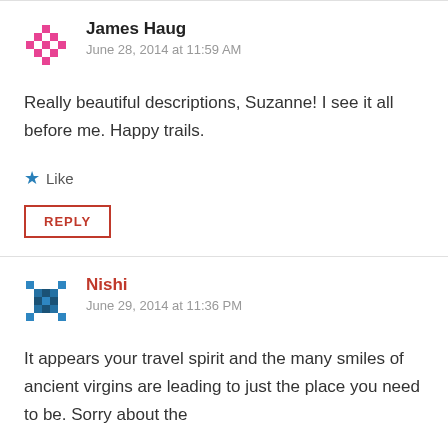[Figure (illustration): Pink/red pixel avatar icon for James Haug]
James Haug
June 28, 2014 at 11:59 AM
Really beautiful descriptions, Suzanne! I see it all before me. Happy trails.
Like
REPLY
[Figure (illustration): Blue pixel avatar icon for Nishi]
Nishi
June 29, 2014 at 11:36 PM
It appears your travel spirit and the many smiles of ancient virgins are leading to just the place you need to be. Sorry about the